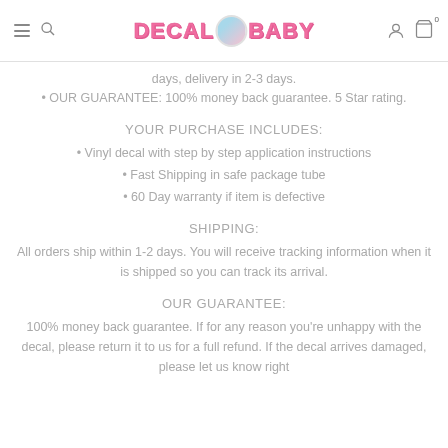DECAL BABY
days, delivery in 2-3 days.
• OUR GUARANTEE: 100% money back guarantee. 5 Star rating.
YOUR PURCHASE INCLUDES:
• Vinyl decal with step by step application instructions
• Fast Shipping in safe package tube
• 60 Day warranty if item is defective
SHIPPING:
All orders ship within 1-2 days. You will receive tracking information when it is shipped so you can track its arrival.
OUR GUARANTEE:
100% money back guarantee. If for any reason you're unhappy with the decal, please return it to us for a full refund. If the decal arrives damaged, please let us know right